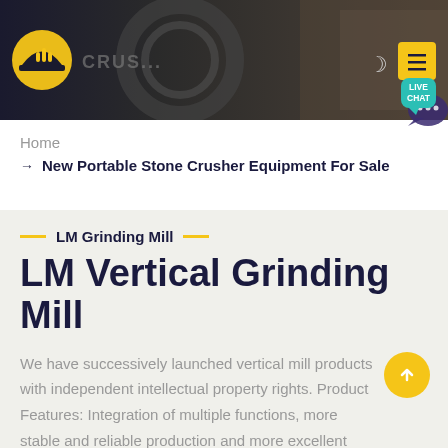[Figure (screenshot): Website header banner with dark industrial background showing machinery, company logo (hard hat icon) on left, moon icon and yellow hamburger menu button on right, and teal Live Chat speech bubble.]
Home
→ New Portable Stone Crusher Equipment For Sale
LM Grinding Mill
LM Vertical Grinding Mill
We have successively launched vertical mill products with independent intellectual property rights. Product Features: Integration of multiple functions, more stable and reliable production and more excellent capacity